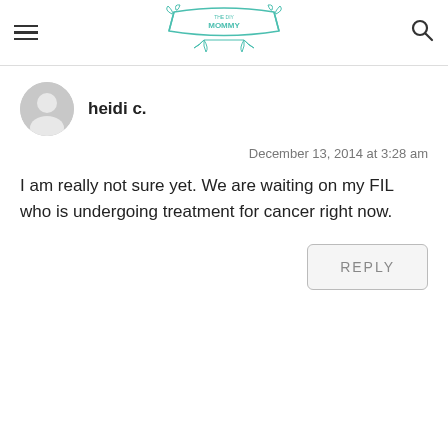THE DIY MOMMY (logo with hamburger menu and search icon)
heidi c.
December 13, 2014 at 3:28 am
I am really not sure yet. We are waiting on my FIL who is undergoing treatment for cancer right now.
REPLY